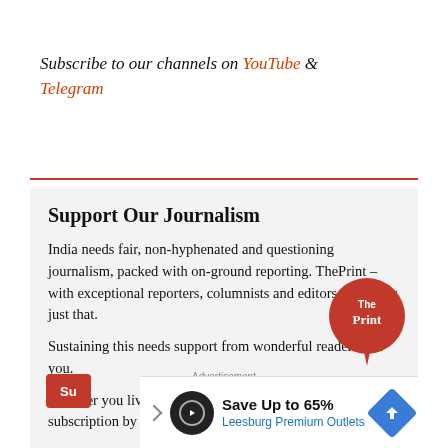Subscribe to our channels on YouTube & Telegram
Support Our Journalism
India needs fair, non-hyphenated and questioning journalism, packed with on-ground reporting. ThePrint – with exceptional reporters, columnists and editors – is doing just that.

Sustaining this needs support from wonderful readers like you.

Whether you live in India or overseas, you can take a paid subscription by clicking here.
[Figure (logo): The Print logo — circular orange badge with white text 'The Print' and a speech bubble tail]
Advertisement
[Figure (screenshot): Advertisement banner: Save Up to 65% — Leesburg Premium Outlets, with a blue diamond arrow icon]